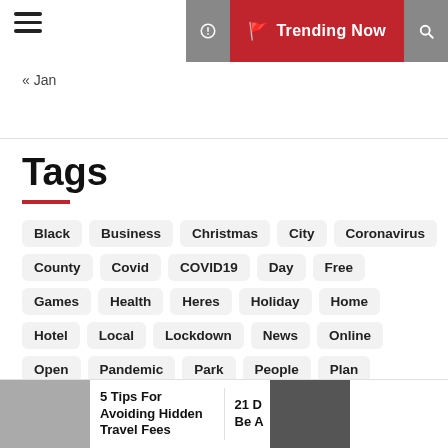≡  🚩 Trending Now
« Jan
Tags
Black
Business
Christmas
City
Coronavirus
County
Covid
COVID19
Day
Free
Games
Health
Heres
Holiday
Home
Hotel
Local
Lockdown
News
Online
Open
Pandemic
Park
People
Plan
School
Season
State
Students
Summer
Thanksgiving
Time
Top
Travel
Trump
Vacation
Vaccine
5 Tips For Avoiding Hidden Travel Fees
21 D Be A